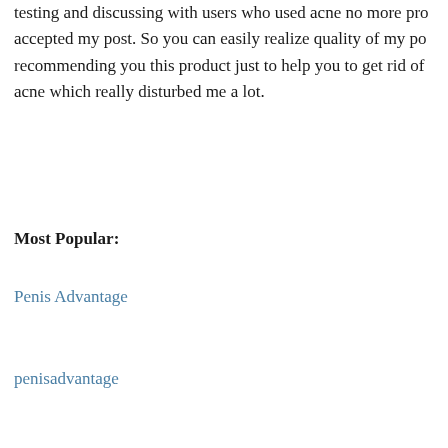testing and discussing with users who used acne no more pro... accepted my post. So you can easily realize quality of my po... recommending you this product just to help you to get rid of acne which really disturbed me a lot.
Most Popular:
Penis Advantage
penisadvantage
No comments yet